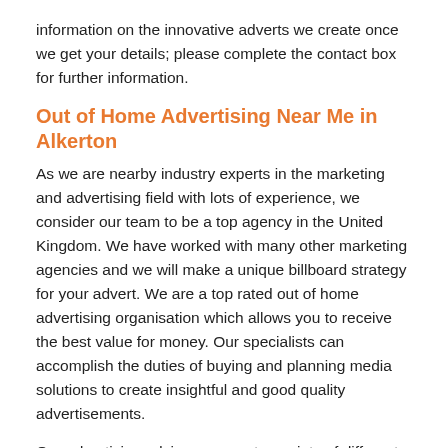information on the innovative adverts we create once we get your details; please complete the contact box for further information.
Out of Home Advertising Near Me in Alkerton
As we are nearby industry experts in the marketing and advertising field with lots of experience, we consider our team to be a top agency in the United Kingdom. We have worked with many other marketing agencies and we will make a unique billboard strategy for your advert. We are a top rated out of home advertising organisation which allows you to receive the best value for money. Our specialists can accomplish the duties of buying and planning media solutions to create insightful and good quality advertisements.
Our advertising advisors can get a variety of different media styles in outdoor spaces. Being a first rate marketing organisation, we offer media planning to improve your campaign and make sure you obtain good results. In general, marketing campaigns will advance as time passes when they are active. Crucial statistics investigation will be performed by our specialists to find out brand new techniques and strategies to enhance our services. If you are